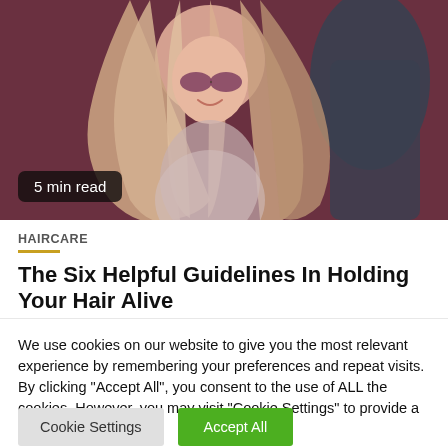[Figure (photo): Woman with long flowing blonde/pink hair wearing sunglasses, smiling, with arms raised]
5 min read
HAIRCARE
The Six Helpful Guidelines In Holding Your Hair Alive
We use cookies on our website to give you the most relevant experience by remembering your preferences and repeat visits. By clicking "Accept All", you consent to the use of ALL the cookies. However, you may visit "Cookie Settings" to provide a controlled consent.
Cookie Settings | Accept All